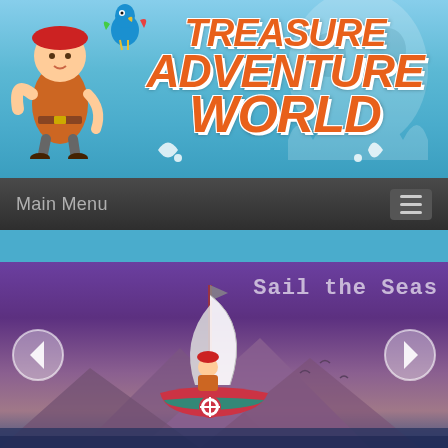[Figure (screenshot): Treasure Adventure World game header banner with sky blue background, pirate character on left, colorful parrot, and large orange stylized title text reading TREASURE ADVENTURE WORLD with white outline/shadow]
Main Menu
[Figure (screenshot): Carousel slide showing a pixelated sailboat with pirate character against a purple dusk sky with mountain silhouettes, left and right navigation arrows, and text 'Sail the Seas' in monospace font top right]